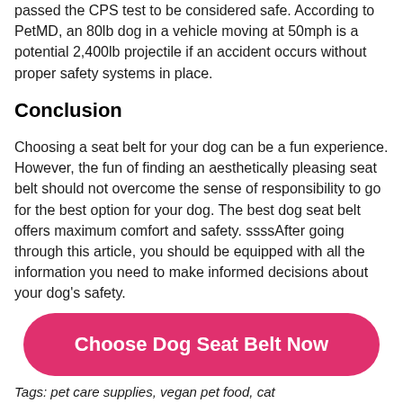passed the CPS test to be considered safe. According to PetMD, an 80lb dog in a vehicle moving at 50mph is a potential 2,400lb projectile if an accident occurs without proper safety systems in place.
Conclusion
Choosing a seat belt for your dog can be a fun experience. However, the fun of finding an aesthetically pleasing seat belt should not overcome the sense of responsibility to go for the best option for your dog. The best dog seat belt offers maximum comfort and safety. ssssAfter going through this article, you should be equipped with all the information you need to make informed decisions about your dog’s safety.
[Figure (other): Pink rounded rectangle button with white bold text reading 'Choose Dog Seat Belt Now']
Tags: pet care supplies, vegan pet food, cat